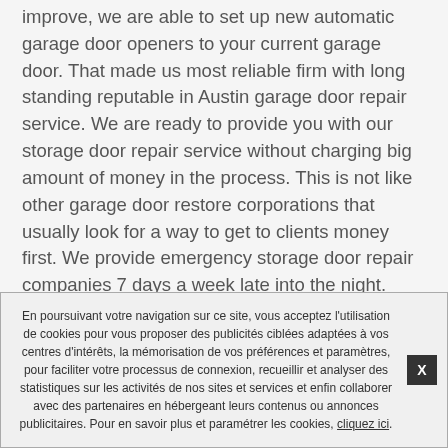improve, we are able to set up new automatic garage door openers to your current garage door. That made us most reliable firm with long standing reputable in Austin garage door repair service. We are ready to provide you with our storage door repair service without charging big amount of money in the process. This is not like other garage door restore corporations that usually look for a way to get to clients money first. We provide emergency storage door repair companies 7 days a week late into the night.
En poursuivant votre navigation sur ce site, vous acceptez l'utilisation de cookies pour vous proposer des publicités ciblées adaptées à vos centres d'intérêts, la mémorisation de vos préférences et paramètres, pour faciliter votre processus de connexion, recueillir et analyser des statistiques sur les activités de nos sites et services et enfin collaborer avec des partenaires en hébergeant leurs contenus ou annonces publicitaires. Pour en savoir plus et paramétrer les cookies, cliquez ici.